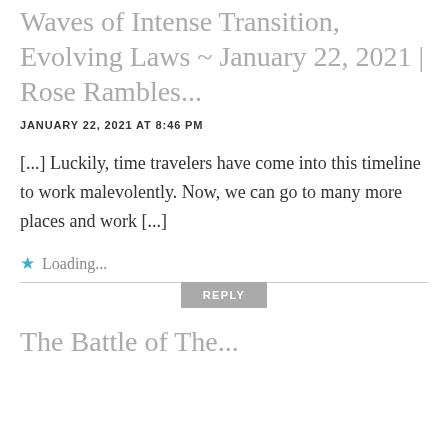Waves of Intense Transition, Evolving Laws ~ January 22, 2021 | Rose Rambles...
JANUARY 22, 2021 AT 8:46 PM
[...] Luckily, time travelers have come into this timeline to work malevolently. Now, we can go to many more places and work [...]
Loading...
REPLY
The Battle of The...